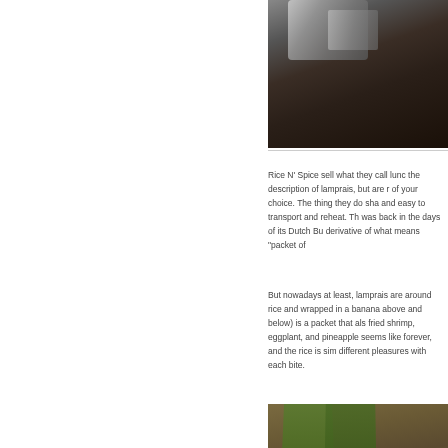[Figure (photo): Photo of lamprais wrapped in foil, shown from above on a dark background]
Rice N' Spice sell what they call lunch packets that fit the description of lamprais, but are more a combination of your choice. The thing they do share is being portable and easy to transport and reheat. This was how lamprais was back in the days of its Dutch Burgher origins and a derivative of what means "packet of food".
But nowadays at least, lamprais are a meat curry built around rice and wrapped in a banana leaf. What I had (above and below) is a packet that also contains a fried shrimp, eggplant, and pineapple curry. It steams for seems like forever, and the rice is simply different pleasures with each bite.
[Figure (photo): Photo of lamprais unwrapped showing banana leaf with rice, curry, and accompaniments on a white plate]